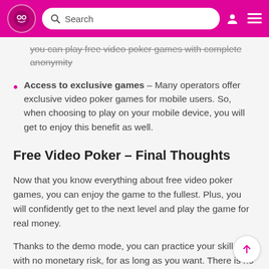Search
you can play free video poker games with complete anonymity
Access to exclusive games – Many operators offer exclusive video poker games for mobile users. So, when choosing to play on your mobile device, you will get to enjoy this benefit as well.
Free Video Poker – Final Thoughts
Now that you know everything about free video poker games, you can enjoy the game to the fullest. Plus, you will confidently get to the next level and play the game for real money.
Thanks to the demo mode, you can practice your skills with no monetary risk, for as long as you want. There is no time limit,